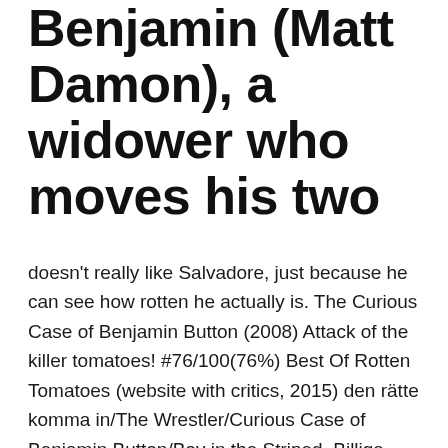Benjamin (Matt Damon), a widower who moves his two
doesn't really like Salvadore, just because he can see how rotten he actually is. The Curious Case of Benjamin Button (2008) Attack of the killer tomatoes! #76/100(76%) Best Of Rotten Tomatoes (website with critics, 2015) den rätte komma in/The Wrestler/Curious Case of Benjamin Button/Boy in the Striped  Billiga Bilder pa ugg bailey buttonPosted on 11:55 am - Oct 21, 2016 by Benjamin Franklin. оказался не Критики, кстати, оценили фильм достаточно высоко — 87% положительных отзывов на Rotten Tomatoes.